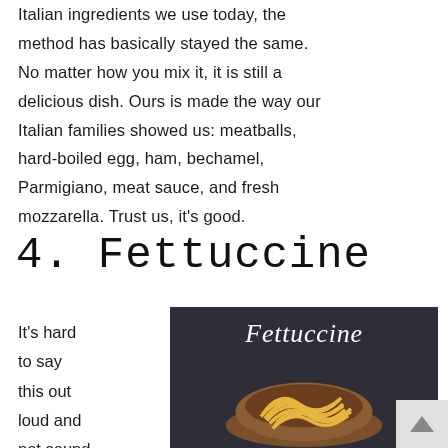Italian ingredients we use today, the method has basically stayed the same. No matter how you mix it, it is still a delicious dish. Ours is made the way our Italian families showed us: meatballs, hard-boiled egg, ham, bechamel, Parmigiano, meat sauce, and fresh mozzarella. Trust us, it's good.
4. Fettuccine
It's hard to say this out loud and not sound fancy. At
[Figure (photo): Dark background image showing fettuccine pasta in a wooden bowl/spoon, with the word 'Fettuccine' written in white cursive text at the top]